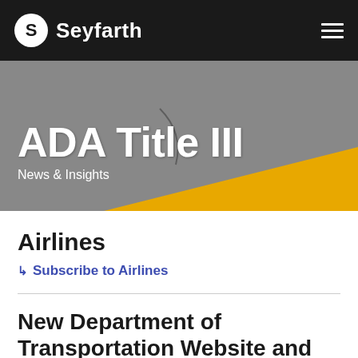Seyfarth
[Figure (photo): ADA Title III News & Insights hero banner with road/pavement texture background and yellow diagonal stripe]
ADA Title III
News & Insights
Airlines
Subscribe to Airlines
New Department of Transportation Website and